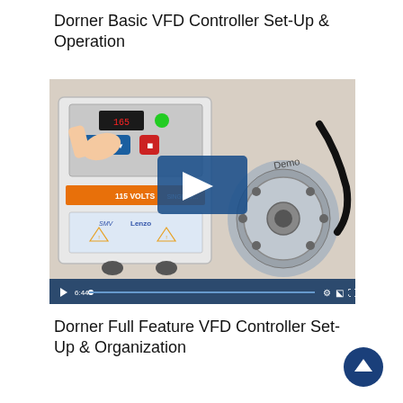Dorner Basic VFD Controller Set-Up & Operation
[Figure (screenshot): Video thumbnail showing a hand pressing buttons on a Dorner VFD controller box labeled '115 VOLTS SINGLE PHASE' with a Lenzo motor next to it. A blue play button overlay is visible in the center. A video progress bar at the bottom shows 6:44 duration with play controls and settings icons.]
Dorner Full Feature VFD Controller Set-Up & Organization